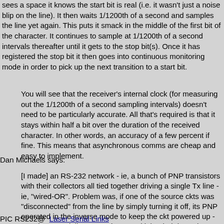sees a space it knows the start bit is real (i.e. it wasn't just a noise blip on the line). It then waits 1/1200th of a second and samples the line yet again. This puts it smack in the middle of the first bit of the character. It continues to sample at 1/1200th of a second intervals thereafter until it gets to the stop bit(s). Once it has registered the stop bit it then goes into continuous monitoring mode in order to pick up the next transition to a start bit.
You will see that the receiver's internal clock (for measuring out the 1/1200th of a second sampling intervals) doesn't need to be particularly accurate. All that's required is that it stays within half a bit over the duration of the received character. In other words, an accuracy of a few percent if fine. This means that asynchronous comms are cheap and easy to implement.
Dan Michaels says:
[I made] an RS-232 network - ie, a bunch of PNP transistors with their collectors all tied together driving a single Tx line - ie, "wired-OR". Problem was, if one of the source ckts was "disconnected" from the line by simply turning it off, its PNP operated in the inverse mode to keep the ckt powered up - or at least partially powered up - and it loaded down the Tx buss. Solution was to put a diode between the collector and the common Tx bus.
PIC RS232@  Laser Serial Links